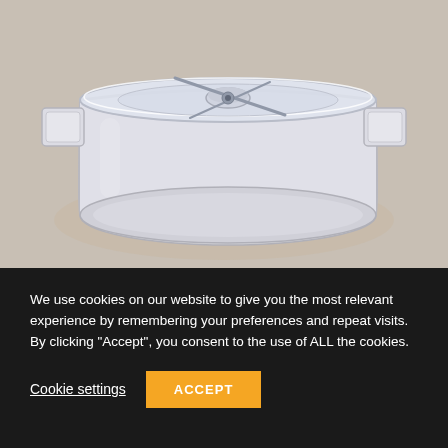[Figure (photo): A clear plastic food processor bowl with lid and blade assembly, viewed from above and slightly to the side, sitting on a light beige/grey surface. The bowl is transparent/clear plastic with handles on the sides and a clear lid with a central hub and blade visible through it.]
We use cookies on our website to give you the most relevant experience by remembering your preferences and repeat visits. By clicking “Accept”, you consent to the use of ALL the cookies.
Cookie settings
ACCEPT